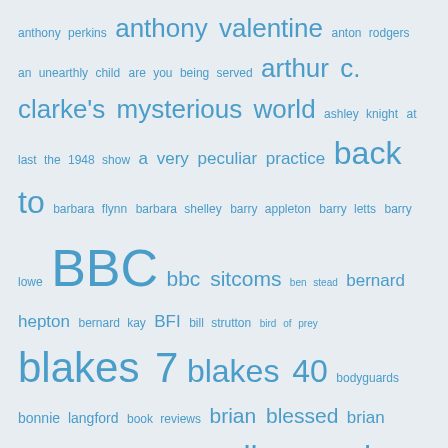[Figure (infographic): Tag cloud / word cloud of British television-related terms in varying shades and sizes of blue text on a light grey-blue background. Terms include people, shows, and topics such as anthony perkins, anthony valentine, anton rodgers, an unearthly child, are you being served, arthur c. clarke's mysterious world, ashley knight, at last the 1948 show, a very peculiar practice, back to, barbara flynn, barbara shelley, barry appleton, barry letts, barry lowe, BBC, bbc sitcoms, ben stead, bernard hepton, bernard kay, BFI, bill strutton, bird of prey, blakes 7, blakes 40, bodyguards, bonnie langford, book reviews, brian blessed, brian croucher, brian wilde, cadfael, callan, carole ann ford, caroline aherne, caroline blakiston, carolyn seymour, celia imrie, charles dickens, charles gray, charmian gradwell, chris boucher, christmas night with the stars, christmas television, christmas top of the pops, christopher neame, cindy shelley, cindy shelly, city of death, clare clifford, colditz, colin baker, colin jeavons, coronation street, coronation street 1976, creature from the pit, crown court, dad's army, danger man, darrell d'silva, david calder, david collings, david horovitch, david jackson, david jason, david lloyd meredith, david mccallum, david morrisey, david reynolds, david troughton, david whitaker, dean harris, deborah]